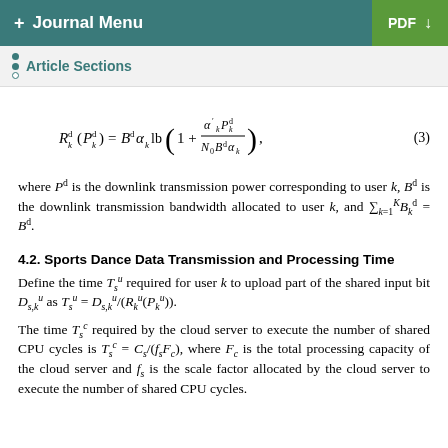+ Journal Menu   PDF ↓
Article Sections
where P^d is the downlink transmission power corresponding to user k, B^d is the downlink transmission bandwidth allocated to user k, and ∑_{k=1}^{K} B_k^d = B^d.
4.2. Sports Dance Data Transmission and Processing Time
Define the time T_s^u required for user k to upload part of the shared input bit D_{s,k}^u as T_s^u = D_{s,k}^u/(R_k^u(P_k^u)).
The time T_s^c required by the cloud server to execute the number of shared CPU cycles is T_s^c = C_s/(f_s F_c), where F_c is the total processing capacity of the cloud server and f_s is the scale factor allocated by the cloud server to execute the number of shared CPU cycles.